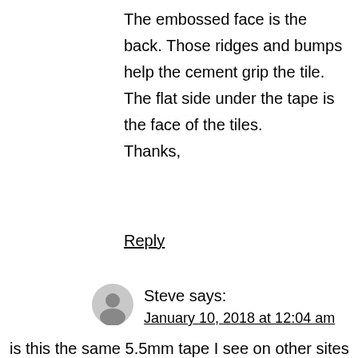The embossed face is the back. Those ridges and bumps help the cement grip the tile. The flat side under the tape is the face of the tiles.
Thanks,
Reply
Steve says:
January 10, 2018 at 12:04 am
is this the same 5.5mm tape I see on other sites for a lower price or is it a heavier tape?. How thick is the tape? Who is the manufacturer?